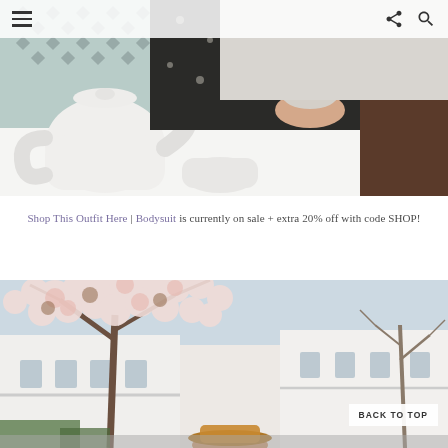Navigation header with hamburger menu, share icon, and search icon
[Figure (photo): Photo of a woman in a dark floral dress drinking from a teacup at a table with a white teapot, set against a geometric patterned wall background]
Shop This Outfit Here | Bodysuit is currently on sale + extra 20% off with code SHOP!
[Figure (photo): Outdoor photo with cherry blossom tree in foreground and white Georgian townhouse buildings in background, with a person in a hat visible at the bottom]
BACK TO TOP